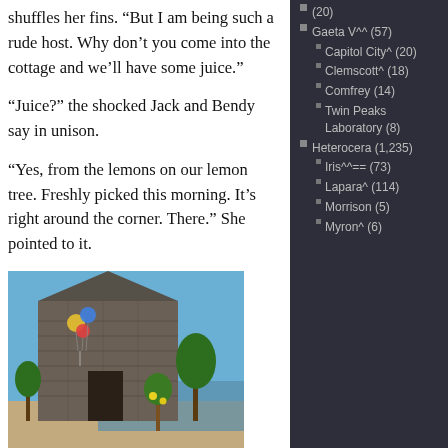shuffles her fins. “But I am being such a rude host. Why don’t you come into the cottage and we’ll have some juice.”
“Juice?” the shocked Jack and Bendy say in unison.
“Yes, from the lemons on our lemon tree. Freshly picked this morning. It’s right around the corner. There.” She pointed to it.
[Figure (photo): A 3D rendered stone cottage building with colorful balloons attached near the doorway, surrounded by trees and a sandy path near water, in a virtual world environment.]
(20)
Gaeta V^^ (57)
Capitol City^ (20)
Clemscott^ (18)
Comfrey (14)
Twin Peaks Laboratory (8)
Heterocera (1,235)
Iris^^== (73)
Lapara^ (114)
Morrison (5)
Myron^ (6)